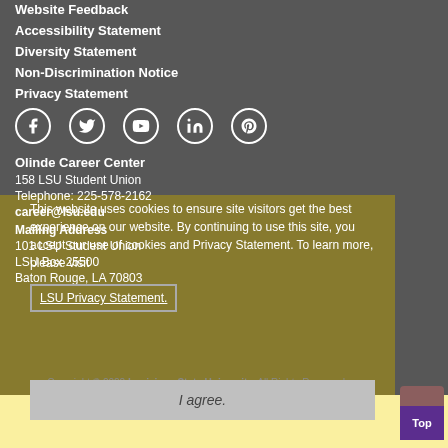Website Feedback
Accessibility Statement
Diversity Statement
Non-Discrimination Notice
Privacy Statement
[Figure (infographic): Social media icons: Facebook, Twitter, YouTube, LinkedIn, Pinterest — white icons in circular outlines]
Olinde Career Center
158 LSU Student Union
Telephone: 225-578-2162
career@lsu.edu
Mailing Address
101 LSU Student Union
LSU Box 25500
Baton Rouge, LA 70803
This website uses cookies to ensure site visitors get the best experience on our website. By continuing to use this site, you accept our use of cookies and Privacy Statement. To learn more, please visit LSU Privacy Statement.
Copyright © 2022 Louisiana State University. All Rights Reserved.
I agree.